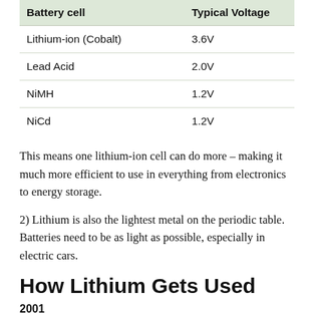| Battery cell | Typical Voltage |
| --- | --- |
| Lithium-ion (Cobalt) | 3.6V |
| Lead Acid | 2.0V |
| NiMH | 1.2V |
| NiCd | 1.2V |
This means one lithium-ion cell can do more – making it much more efficient to use in everything from electronics to energy storage.
2) Lithium is also the lightest metal on the periodic table. Batteries need to be as light as possible, especially in electric cars.
How Lithium Gets Used
2001